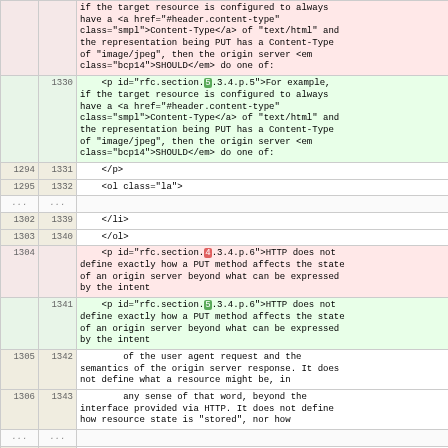| old | new | content |
| --- | --- | --- |
|  |  | if the target resource is configured to always have a <a href="#header.content-type" class="smpl">Content-Type</a> of "text/html" and the representation being PUT has a Content-Type of "image/jpeg", then the origin server <em class="bcp14">SHOULD</em> do one of: |
|  | 1330 | <p id="rfc.section.5.3.4.p.5">For example, if the target resource is configured to always have a <a href="#header.content-type" class="smpl">Content-Type</a> of "text/html" and the representation being PUT has a Content-Type of "image/jpeg", then the origin server <em class="bcp14">SHOULD</em> do one of: |
| 1294 | 1331 | </p> |
| 1295 | 1332 | <ol class="la"> |
| ... | ... |  |
| 1302 | 1339 | </li> |
| 1303 | 1340 | </ol> |
| 1304 |  | <p id="rfc.section.4.3.4.p.6">HTTP does not define exactly how a PUT method affects the state of an origin server beyond what can be expressed by the intent |
|  | 1341 | <p id="rfc.section.5.3.4.p.6">HTTP does not define exactly how a PUT method affects the state of an origin server beyond what can be expressed by the intent |
| 1305 | 1342 |         of the user agent request and the semantics of the origin server response. It does not define what a resource might be, in |
| 1306 | 1343 |         any sense of that word, beyond the interface provided via HTTP. It does not define how resource state is "stored", nor how |
| ... | ... |  |
| 1309 | 1346 |         the server. |
| 1310 | 1347 | </p> |